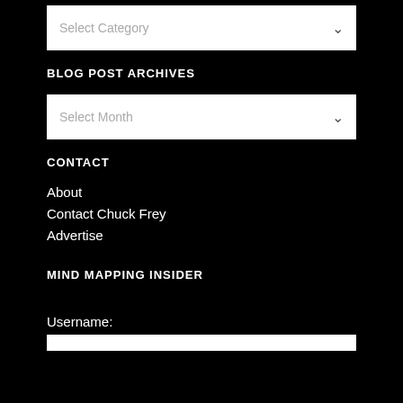[Figure (screenshot): Select Category dropdown box with white background]
BLOG POST ARCHIVES
[Figure (screenshot): Select Month dropdown box with white background]
CONTACT
About
Contact Chuck Frey
Advertise
MIND MAPPING INSIDER
Username:
[Figure (screenshot): Username input text box with white background]